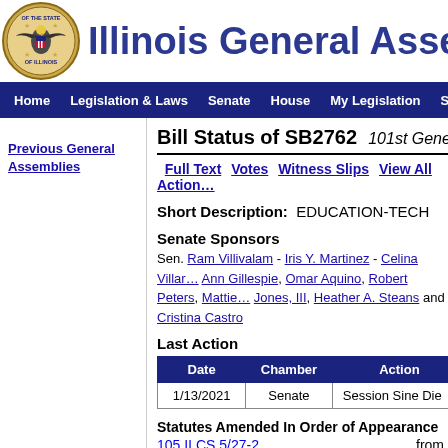Illinois General Assembly
Home | Legislation & Laws | Senate | House | My Legislation | Site Map
Previous General Assemblies
Bill Status of SB2762  101st General Assembly
Full Text  Votes  Witness Slips  View All Actions
Short Description:  EDUCATION-TECH
Senate Sponsors
Sen. Ram Villivalam - Iris Y. Martinez - Celina Villanueva, Ann Gillespie, Omar Aquino, Robert Peters, Mattie Hunter - Jones, III, Heather A. Steans and Cristina Castro
Last Action
| Date | Chamber | Action |
| --- | --- | --- |
| 1/13/2021 | Senate | Session Sine Die |
Statutes Amended In Order of Appearance
105 ILCS 5/27-2  from